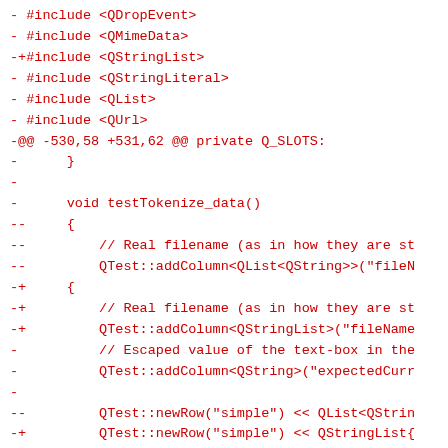- #include <QDropEvent>
- #include <QMimeData>
-+#include <QStringList>
- #include <QStringLiteral>
- #include <QList>
- #include <QUrl>
-@@ -530,58 +531,62 @@ private Q_SLOTS:
-      }
-
-      void testTokenize_data()
--     {
--         // Real filename (as in how they are st
--         QTest::addColumn<QList<QString>>("fileN
-+     {
-+         // Real filename (as in how they are st
-+         QTest::addColumn<QStringList>("fileName
-          // Escaped value of the text-box in the
-          QTest::addColumn<QString>("expectedCurr
-
--         QTest::newRow("simple") << QList<QStrin
-+         QTest::newRow("simple") << QStringList{
-